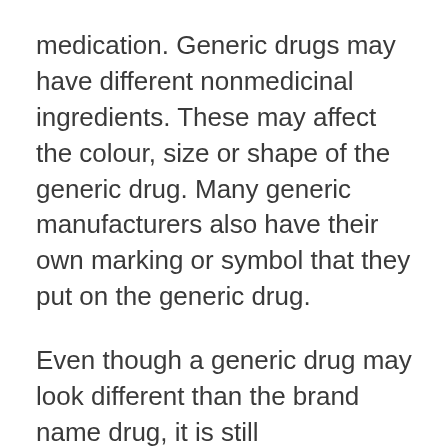medication. Generic drugs may have different nonmedicinal ingredients. These may affect the colour, size or shape of the generic drug. Many generic manufacturers also have their own marking or symbol that they put on the generic drug.
Even though a generic drug may look different than the brand name drug, it is still bioequivalent, and it will still act the same way in the body as the brand name drug.
How do I know if the drug I am taking is a generic?